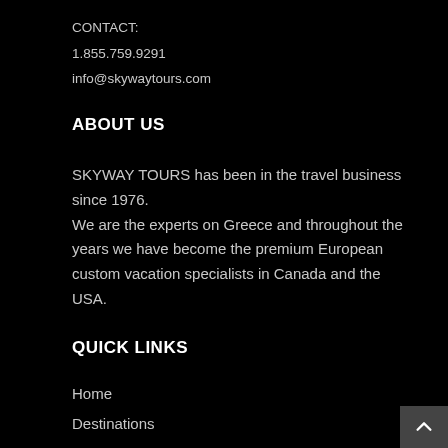CONTACT:
1.855.759.9291
info@skywaytours.com
ABOUT US
SKYWAY TOURS has been in the travel business since 1976.
We are the experts on Greece and throughout the years we have become the premium European custom vacation specialists in Canada and the USA.
QUICK LINKS
Home
Destinations